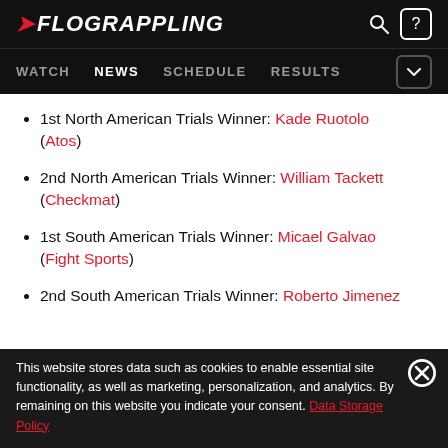FLOGRAPPLING
WATCH  NEWS  SCHEDULE  RESULTS
1st North American Trials Winner: Kade Ruotolo (Atos)
2nd North American Trials Winner: William Tackett (Checkmat)
1st South American Trials Winner: Micael Galvao (Fight Sports)
2nd South American Trials Winner: Roberto Jimenez
This website stores data such as cookies to enable essential site functionality, as well as marketing, personalization, and analytics. By remaining on this website you indicate your consent. Data Storage Policy